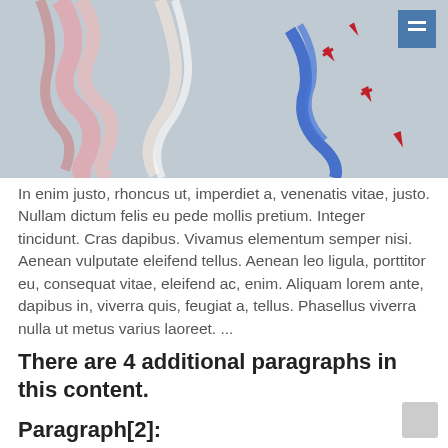[Figure (photo): Aerial display team jets flying with colored smoke trails (red/pink and blue) against a grey sky background]
In enim justo, rhoncus ut, imperdiet a, venenatis vitae, justo. Nullam dictum felis eu pede mollis pretium. Integer tincidunt. Cras dapibus. Vivamus elementum semper nisi. Aenean vulputate eleifend tellus. Aenean leo ligula, porttitor eu, consequat vitae, eleifend ac, enim. Aliquam lorem ante, dapibus in, viverra quis, feugiat a, tellus. Phasellus viverra nulla ut metus varius laoreet. ...
There are 4 additional paragraphs in this content.
Paragraph[2]: